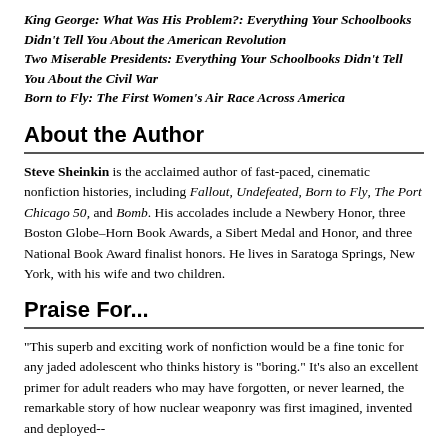King George: What Was His Problem?: Everything Your Schoolbooks Didn't Tell You About the American Revolution
Two Miserable Presidents: Everything Your Schoolbooks Didn't Tell You About the Civil War
Born to Fly: The First Women's Air Race Across America
About the Author
Steve Sheinkin is the acclaimed author of fast-paced, cinematic nonfiction histories, including Fallout, Undefeated, Born to Fly, The Port Chicago 50, and Bomb. His accolades include a Newbery Honor, three Boston Globe–Horn Book Awards, a Sibert Medal and Honor, and three National Book Award finalist honors. He lives in Saratoga Springs, New York, with his wife and two children.
Praise For...
"This superb and exciting work of nonfiction would be a fine tonic for any jaded adolescent who thinks history is "boring." It's also an excellent primer for adult readers who may have forgotten, or never learned, the remarkable story of how nuclear weaponry was first imagined, invented and deployed--